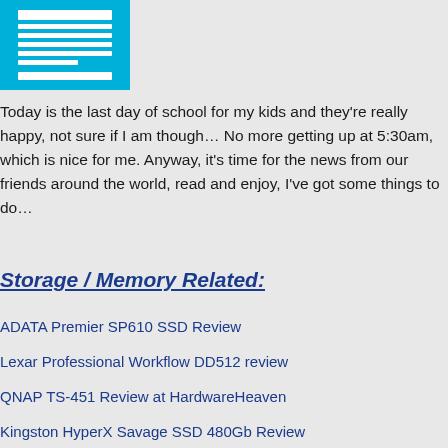[Figure (logo): Blue document/page icon logo with white lines representing text on it]
Today is the last day of school for my kids and they’re really happy, not sure if I am though… No more getting up at 5:30am, which is nice for me. Anyway, it’s time for the news from our friends around the world, read and enjoy, I’ve got some things to do…
Storage / Memory Related:
ADATA Premier SP610 SSD Review
Lexar Professional Workflow DD512 review
QNAP TS-451 Review at HardwareHeaven
Kingston HyperX Savage SSD 480Gb Review